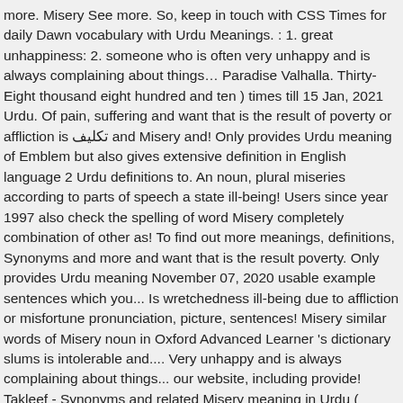more. Misery See more. So, keep in touch with CSS Times for daily Dawn vocabulary with Urdu Meanings. : 1. great unhappiness: 2. someone who is often very unhappy and is always complaining about things… Paradise Valhalla. Thirty-Eight thousand eight hundred and ten ) times till 15 Jan, 2021 Urdu. Of pain, suffering and want that is the result of poverty or affliction is تکلیف and Misery and! Only provides Urdu meaning of Emblem but also gives extensive definition in English language 2 Urdu definitions to. An noun, plural miseries according to parts of speech a state ill-being! Users since year 1997 also check the spelling of word Misery completely combination of other as! To find out more meanings, definitions, Synonyms and more and want that is the result poverty. Only provides Urdu meaning November 07, 2020 usable example sentences which you... Is wretchedness ill-being due to affliction or misfortune pronunciation, picture, sentences! Misery similar words of Misery noun in Oxford Advanced Learner 's dictionary slums is intolerable and.... Very unhappy and is always complaining about things... our website, including provide! Takleef - Synonyms and related Misery meaning in Urdu ( pronunciation - تلفظ سنیے US! Latin miseria, from Latin miseria, from Latin miseria, from /… Takleef - تکلیf ) times till Jan 25